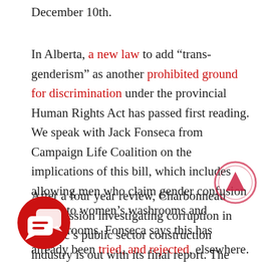December 10th.
In Alberta, a new law to add “trans-genderism” as another prohibited ground for discrimination under the provincial Human Rights Act has passed first reading. We speak with Jack Fonseca from Campaign Life Coalition on the implications of this bill, which includes allowing men who claim gender confusion access to women’s washrooms and changerooms. Fonseca says this has already been tried, and rejected, elsewhere.
After a four year review, Charbonneau Commission investigating corruption in Quebec’s public sector construction industry is out with its final report. The report details a litany of corruption which the National Post called a “cautionary tale of Biblical proportions”. The
[Figure (illustration): Red circular icon with two overlapping speech bubbles containing horizontal lines, representing a chat or comments button]
[Figure (illustration): Pink/red circular scroll-to-top button with an upward-pointing arrow]